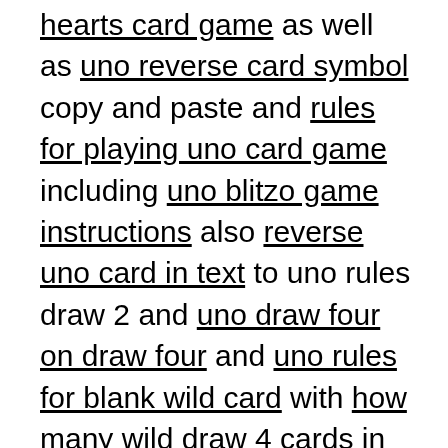hearts card game as well as uno reverse card symbol copy and paste and rules for playing uno card game including uno blitzo game instructions also reverse uno card in text to uno rules draw 2 and uno draw four on draw four and uno rules for blank wild card with how many wild draw 4 cards in uno plus directions to uno card game and what are the rules to the uno game.